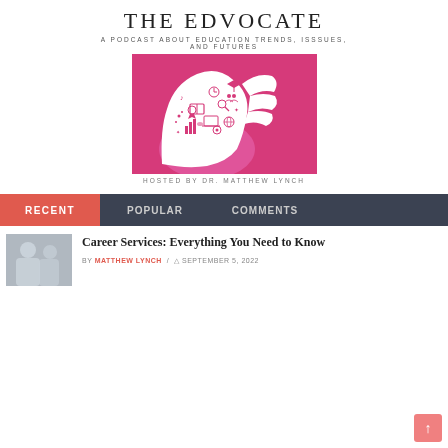THE EDVOCATE
A PODCAST ABOUT EDUCATION TRENDS, ISSSUES, AND FUTURES
[Figure (illustration): Pink podcast cover art showing a white silhouette of a person's head filled with educational icons like books, graduation caps, magnifying glass, computer, globe, music notes, and charts, on a pink/magenta background.]
HOSTED BY DR. MATTHEW LYNCH
RECENT   POPULAR   COMMENTS
Career Services: Everything You Need to Know
BY MATTHEW LYNCH / SEPTEMBER 5, 2022